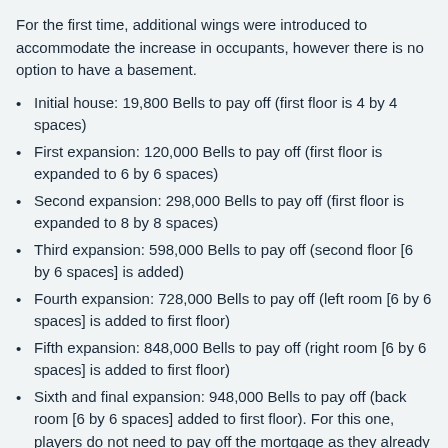For the first time, additional wings were introduced to accommodate the increase in occupants, however there is no option to have a basement.
Initial house: 19,800 Bells to pay off (first floor is 4 by 4 spaces)
First expansion: 120,000 Bells to pay off (first floor is expanded to 6 by 6 spaces)
Second expansion: 298,000 Bells to pay off (first floor is expanded to 8 by 8 spaces)
Third expansion: 598,000 Bells to pay off (second floor [6 by 6 spaces] is added)
Fourth expansion: 728,000 Bells to pay off (left room [6 by 6 spaces] is added to first floor)
Fifth expansion: 848,000 Bells to pay off (right room [6 by 6 spaces] is added to first floor)
Sixth and final expansion: 948,000 Bells to pay off (back room [6 by 6 spaces] added to first floor). For this one, players do not need to pay off the mortgage as they already have a full-sized house.
The total cost is 3,559,800 Bells